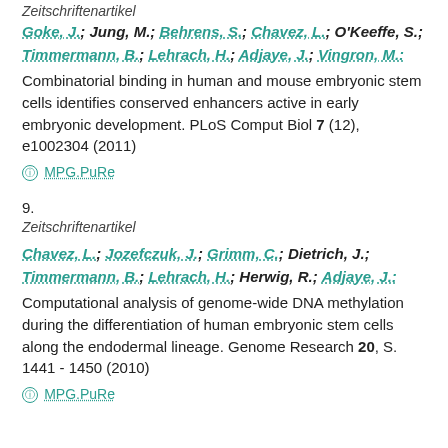Zeitschriftenartikel
Goke, J.; Jung, M.; Behrens, S.; Chavez, L.; O'Keeffe, S.; Timmermann, B.; Lehrach, H.; Adjaye, J.; Vingron, M.: Combinatorial binding in human and mouse embryonic stem cells identifies conserved enhancers active in early embryonic development. PLoS Comput Biol 7 (12), e1002304 (2011)
MPG.PuRe
9.
Zeitschriftenartikel
Chavez, L.; Jozefczuk, J.; Grimm, C.; Dietrich, J.; Timmermann, B.; Lehrach, H.; Herwig, R.; Adjaye, J.: Computational analysis of genome-wide DNA methylation during the differentiation of human embryonic stem cells along the endodermal lineage. Genome Research 20, S. 1441 - 1450 (2010)
MPG.PuRe